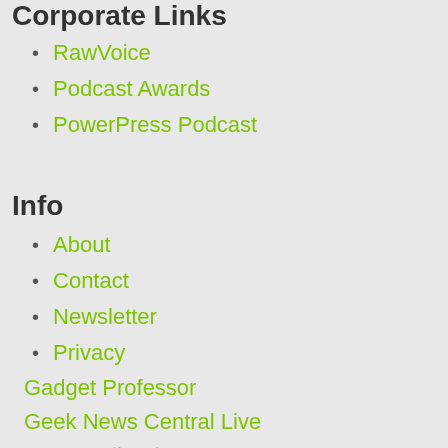Corporate Links
RawVoice
Podcast Awards
PowerPress Podcast
Info
About
Contact
Newsletter
Privacy
Gadget Professor
Geek News Central Live
New Media Show